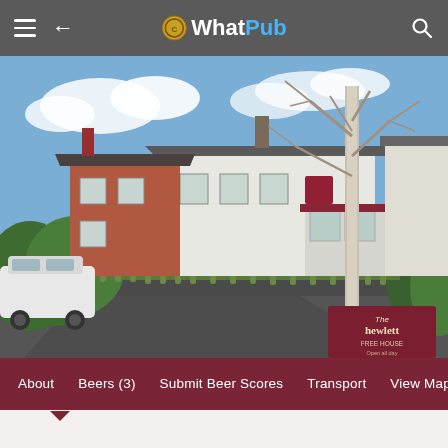WhatPub – navigation bar with menu, back arrow, logo, search
[Figure (photo): Exterior photograph of The Hewlett pub, a white-painted building with a red-brick attached house, green picket fence, bare winter trees, a parked white car, and a dark road in the foreground. A maroon pub sign reading 'The Hewlett' is visible at lower right.]
About | Beers (3) | Submit Beer Scores | Transport | View Map | Featu… >